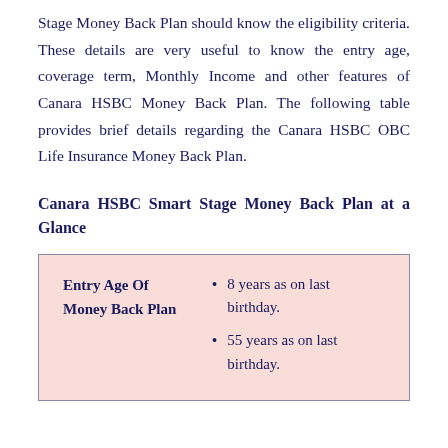Stage Money Back Plan should know the eligibility criteria. These details are very useful to know the entry age, coverage term, Monthly Income and other features of Canara HSBC Money Back Plan. The following table provides brief details regarding the Canara HSBC OBC Life Insurance Money Back Plan.
Canara HSBC Smart Stage Money Back Plan at a Glance
|  |  |
| --- | --- |
| Entry Age Of Money Back Plan | • 8 years as on last birthday.
• 55 years as on last birthday. |